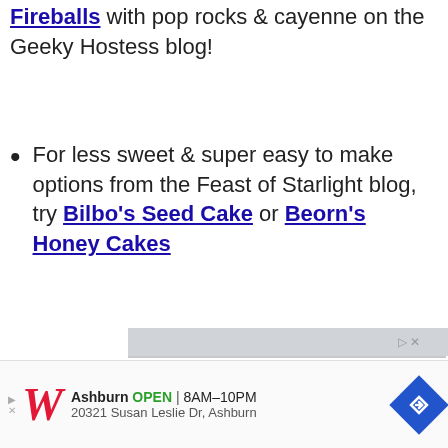Fireballs with pop rocks & cayenne on the Geeky Hostess blog!
For less sweet & super easy to make options from the Feast of Starlight blog, try Bilbo's Seed Cake or Beorn's Honey Cakes
[Figure (photo): Close-up photo of a border collie puppy with heterochromia (one blue eye, one green eye), black and white fur, looking directly at camera. There is an ad overlay icon (triangle and X) in the top right corner of the image.]
[Figure (infographic): Walgreens advertisement banner showing: left arrow icon, Walgreens cursive W logo in red, text 'Ashburn OPEN 8AM-10PM', address '20321 Susan Leslie Dr, Ashburn', and a blue diamond navigation icon on the right.]